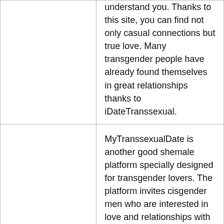|  | understand you. Thanks to this site, you can find not only casual connections but true love. Many transgender people have already found themselves in great relationships thanks to iDateTranssexual. |
| MyTranssexualDate | MyTranssexualDate is another good shemale platform specially designed for transgender lovers. The platform invites cisgender men who are interested in love and relationships with transgender women. If you want to spice up your life on romantic dates but stay away from scammers, MyTranssexualDate can be a sure to choose. The portal claims to be the best |